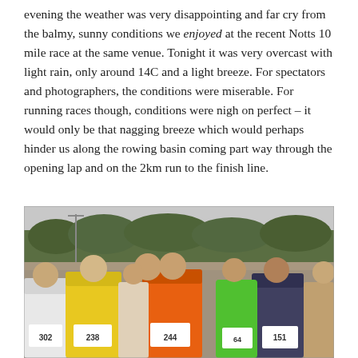evening the weather was very disappointing and far cry from the balmy, sunny conditions we enjoyed at the recent Notts 10 mile race at the same venue. Tonight it was very overcast with light rain, only around 14C and a light breeze. For spectators and photographers, the conditions were miserable. For running races though, conditions were nigh on perfect – it would only be that nagging breeze which would perhaps hinder us along the rowing basin coming part way through the opening lap and on the 2km run to the finish line.
[Figure (photo): A large group of runners at the start of a road race on an overcast day. Runners wearing numbered bibs including 302, 238, 244, 64, 151. Treeline visible in the background under grey sky.]